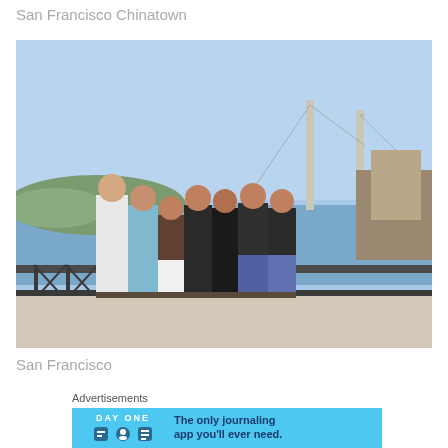San Francisco Chinatown
[Figure (photo): Group of seven people (two men and five women) posing together on a waterfront promenade with a metal railing behind them, the San Francisco Bay Bridge visible in the background under a clear blue sky.]
San Francisco
Advertisements
[Figure (screenshot): Day One app advertisement banner with cyan/blue background. Left side shows 'DAY ONE' text with three small icons. Right side reads 'The only journaling app you'll ever need.']